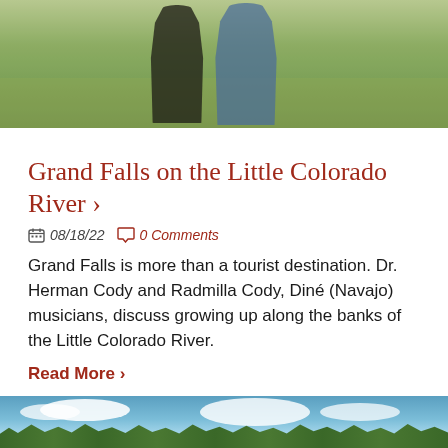[Figure (photo): Two people standing outdoors in a scrubby desert/grassland landscape. One person wears a black t-shirt, the other wears a blue denim shirt with a large belt buckle.]
Grand Falls on the Little Colorado River ›
📅 08/18/22  💬 0 Comments
Grand Falls is more than a tourist destination. Dr. Herman Cody and Radmilla Cody, Diné (Navajo) musicians, discuss growing up along the banks of the Little Colorado River.
Read More ›
[Figure (photo): Partial view of an outdoor landscape with blue sky, clouds, and green trees at the bottom — partially cropped at the bottom of the page.]